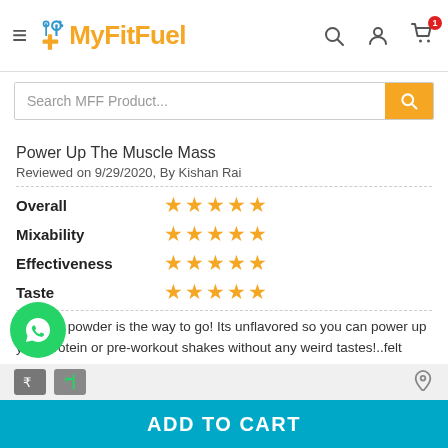MyFitFuel
Search MFF Product...
Power Up The Muscle Mass
Reviewed on 9/29/2020, By Kishan Rai
| Category | Rating |
| --- | --- |
| Overall | 5 stars |
| Mixability | 5 stars |
| Effectiveness | 5 stars |
| Taste | 5 stars |
creatine powder is the way to go! Its unflavored so you can power up your protein or pre-workout shakes without any weird tastes!..felt energetic and like no any fatigue felt..taking after a hard workout..thanks MFF
Report Abuse
ADD TO CART